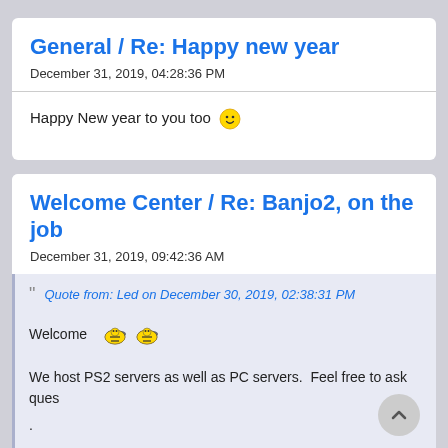General / Re: Happy new year
December 31, 2019, 04:28:36 PM
Happy New year to you too 🙂
Welcome Center / Re: Banjo2, on the job
December 31, 2019, 09:42:36 AM
Quote from: Led on December 30, 2019, 02:38:31 PM
Welcome 🐝🐝
We host PS2 servers as well as PC servers.  Feel free to ask ques